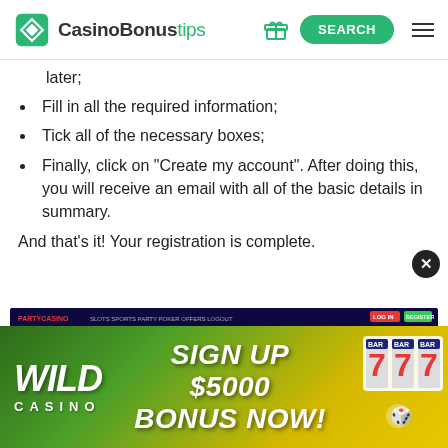CasinoBonustips — SEARCH
later;
Fill in all the required information;
Tick all of the necessary boxes;
Finally, click on "Create my account". After doing this, you will receive an email with all of the basic details in summary.
And that's it! Your registration is complete.
[Figure (screenshot): PartyCasino website screenshot showing 100% Welcome Bonus UP TO 500€ + 20 FREE SPINS promotion with dark blue/purple background and red-haired character]
[Figure (infographic): Wild Casino advertisement banner with green/yellow gradient background, WILD CASINO logo, and SIGN UP $5000 BONUS NOW! text with slot machine 777 imagery]